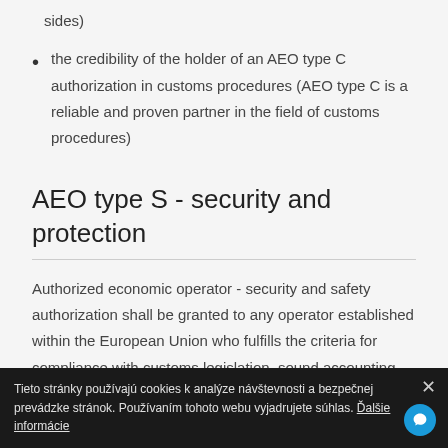sides)
the credibility of the holder of an AEO type C authorization in customs procedures (AEO type C is a reliable and proven partner in the field of customs procedures)
AEO type S - security and protection
Authorized economic operator - security and safety authorization shall be granted to any operator established within the European Union who fulfills the criteria for compliance with customs legislation, sound accounting standards, financial solvency and compliance with safety and security standards.
Tieto stránky používajú cookies k analýze návštevnosti a bezpečnej prevádzke stránok. Používaním tohoto webu vyjadrujete súhlas. Ďalšie informácie